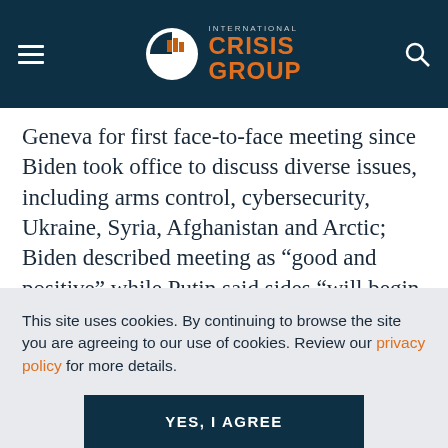International Crisis Group
Geneva for first face-to-face meeting since Biden took office to discuss diverse issues, including arms control, cybersecurity, Ukraine, Syria, Afghanistan and Arctic; Biden described meeting as “good and positive” while Putin said sides “will begin consultations on the entire complex of interactions on the diplomatic track”. Sole document signed by both parties
This site uses cookies. By continuing to browse the site you are agreeing to our use of cookies. Review our privacy policy for more details.
YES, I AGREE